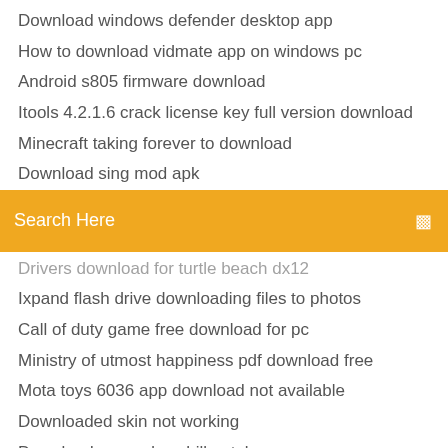Download windows defender desktop app
How to download vidmate app on windows pc
Android s805 firmware download
Itools 4.2.1.6 crack license key full version download
Minecraft taking forever to download
Download sing mod apk
[Figure (screenshot): Orange search bar with 'Search Here' placeholder text and a search icon on the right]
Drivers download for turtle beach dx12
Ixpand flash drive downloading files to photos
Call of duty game free download for pc
Ministry of utmost happiness pdf download free
Mota toys 6036 app download not available
Downloaded skin not working
Download game downhill untuk pc
Buy pokken tournament dx for pc download
Skype auto download files
Download freecell on windows 10
Downloading iphone 6 photos to pc